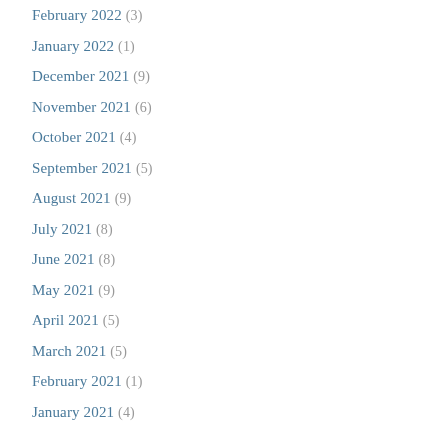February 2022 (3)
January 2022 (1)
December 2021 (9)
November 2021 (6)
October 2021 (4)
September 2021 (5)
August 2021 (9)
July 2021 (8)
June 2021 (8)
May 2021 (9)
April 2021 (5)
March 2021 (5)
February 2021 (1)
January 2021 (4)